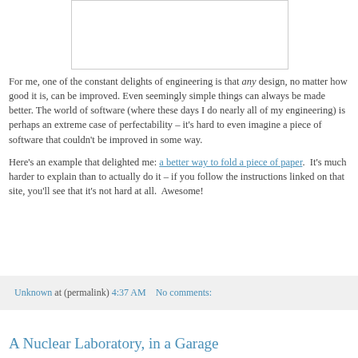[Figure (other): White rectangle placeholder image with light gray border]
For me, one of the constant delights of engineering is that any design, no matter how good it is, can be improved. Even seemingly simple things can always be made better. The world of software (where these days I do nearly all of my engineering) is perhaps an extreme case of perfectability – it's hard to even imagine a piece of software that couldn't be improved in some way.
Here's an example that delighted me: a better way to fold a piece of paper.  It's much harder to explain than to actually do it – if you follow the instructions linked on that site, you'll see that it's not hard at all.  Awesome!
Unknown at (permalink) 4:37 AM    No comments:
A Nuclear Laboratory, in a Garage